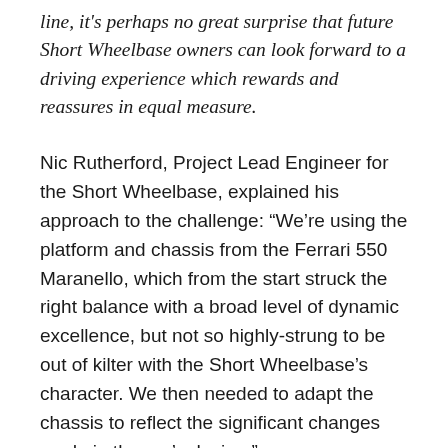line, it's perhaps no great surprise that future Short Wheelbase owners can look forward to a driving experience which rewards and reassures in equal measure.
Nic Rutherford, Project Lead Engineer for the Short Wheelbase, explained his approach to the challenge: “We’re using the platform and chassis from the Ferrari 550 Maranello, which from the start struck the right balance with a broad level of dynamic excellence, but not so highly-strung to be out of kilter with the Short Wheelbase’s character. We then needed to adapt the chassis to reflect the significant changes made in the car’s design.”
While the Short Wheelbase retains the 550’s